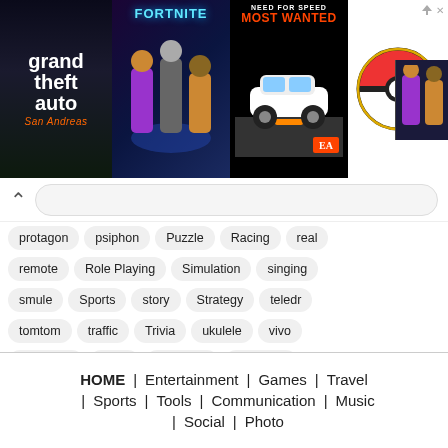[Figure (screenshot): Banner with game thumbnails: GTA San Andreas, Fortnite, Need for Speed Most Wanted, Pokemon ball, and small Fortnite thumbnail. Ad indicator arrow in top right.]
protagon
psiphon
Puzzle
Racing
real
remote
Role Playing
Simulation
singing
smule
Sports
story
Strategy
teledr
tomtom
traffic
Trivia
ukulele
vivo
whatsdog
Word
yousician
yousician
HOME | Entertainment | Games | Travel | Sports | Tools | Communication | Music | Social | Photo